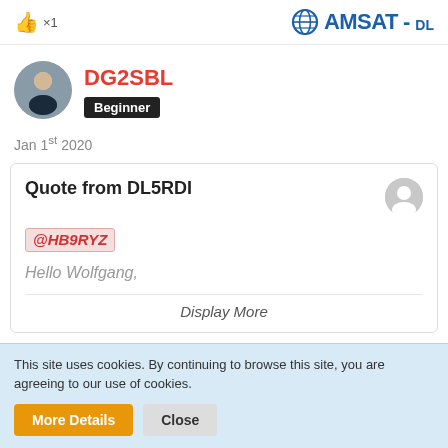👍 ×1   AMSAT-DL
[Figure (photo): Round avatar photo of a person holding a radio/microphone, wearing a dark shirt, outdoors background]
DG2SBL
Beginner
Jan 1st 2020
Quote from DL5RDI
@HB9RYZ
Hello Wolfgang,
Display More
This site uses cookies. By continuing to browse this site, you are agreeing to our use of cookies.
More Details   Close